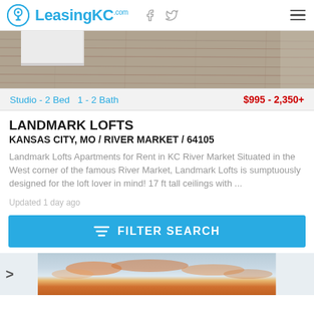LeasingKC.com
[Figure (photo): Partial view of apartment interior with hardwood flooring and white cabinet/furniture]
Studio - 2 Bed  1 - 2 Bath    $995 - 2,350+
LANDMARK LOFTS
KANSAS CITY, MO / RIVER MARKET / 64105
Landmark Lofts Apartments for Rent in KC River Market Situated in the West corner of the famous River Market, Landmark Lofts is sumptuously designed for the loft lover in mind! 17 ft tall ceilings with ...
Updated 1 day ago
FILTER SEARCH
[Figure (photo): Partial view of sunset sky with orange and pink clouds over blue sky]